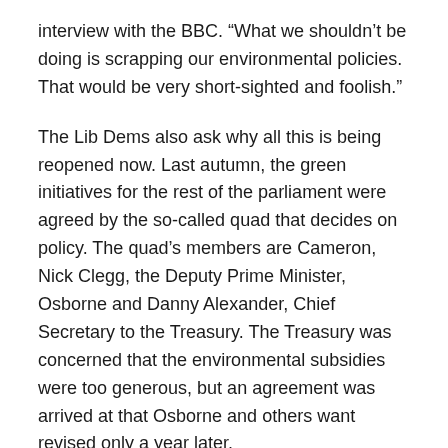interview with the BBC. “What we shouldn’t be doing is scrapping our environmental policies. That would be very short-sighted and foolish.”
The Lib Dems also ask why all this is being reopened now. Last autumn, the green initiatives for the rest of the parliament were agreed by the so-called quad that decides on policy. The quad’s members are Cameron, Nick Clegg, the Deputy Prime Minister, Osborne and Danny Alexander, Chief Secretary to the Treasury. The Treasury was concerned that the environmental subsidies were too generous, but an agreement was arrived at that Osborne and others want revised only a year later.
“They have to understand the world has changed. Bills keep going up,” says a Tory minister, by way of explanation.